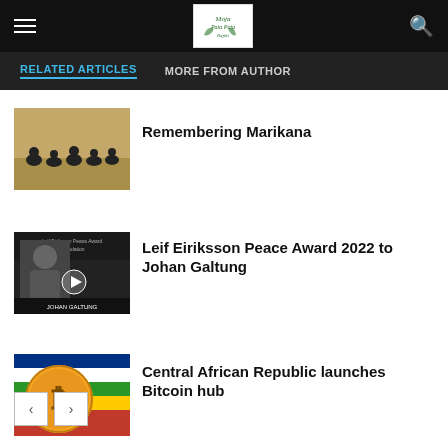Menu | Logo | Search
RELATED ARTICLES   MORE FROM AUTHOR
[Figure (photo): Dark silhouette figures crouching on a tan/brown ground, Marikana memorial art]
Remembering Marikana
[Figure (photo): Video thumbnail showing Johan Galtung with text 'Leif Eiriksson Peace Award Foundation' and 'Johan Galtung']
Leif Eiriksson Peace Award 2022 to Johan Galtung
[Figure (photo): Bitcoin coin on Central African Republic flag background (red, green, yellow, blue stripes)]
Central African Republic launches Bitcoin hub